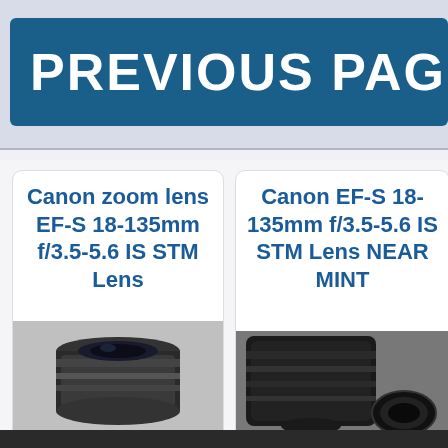PREVIOUS PAGE
Canon zoom lens EF-S 18-135mm f/3.5-5.6 IS STM Lens
[Figure (photo): Photo of Canon zoom lens EF-S 18-135mm, black lens body viewed from front/side angle]
Canon EF-S 18-135mm f/3.5-5.6 IS STM Lens NEAR MINT
[Figure (photo): Photo of Canon EF-S 18-135mm lens with lens cap/filter ring visible, dark background]